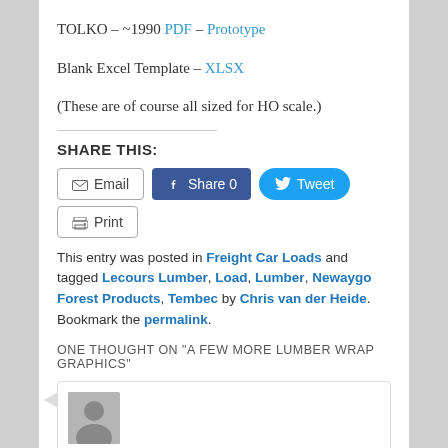TOLKO – ~1990 PDF – Prototype
Blank Excel Template – XLSX
(These are of course all sized for HO scale.)
SHARE THIS:
Email | Share 0 | Tweet | Print (share buttons)
This entry was posted in Freight Car Loads and tagged Lecours Lumber, Load, Lumber, Newaygo Forest Products, Tembec by Chris van der Heide. Bookmark the permalink.
ONE THOUGHT ON "A FEW MORE LUMBER WRAP GRAPHICS"
[Figure (other): Comment box with user avatar silhouette (gray placeholder person icon)]